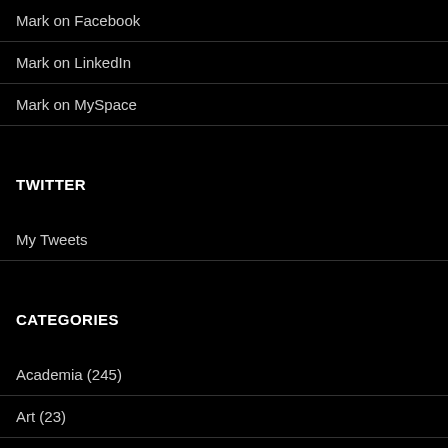Mark on Facebook
Mark on LinkedIn
Mark on MySpace
TWITTER
My Tweets
CATEGORIES
Academia (245)
Art (23)
cmgp (168)
Games (120)